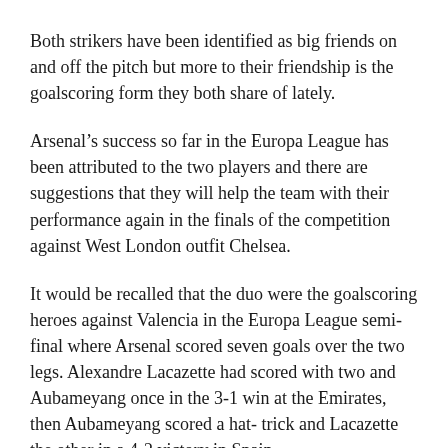Both strikers have been identified as big friends on and off the pitch but more to their friendship is the goalscoring form they both share of lately.
Arsenal's success so far in the Europa League has been attributed to the two players and there are suggestions that they will help the team with their performance again in the finals of the competition against West London outfit Chelsea.
It would be recalled that the duo were the goalscoring heroes against Valencia in the Europa League semi-final where Arsenal scored seven goals over the two legs. Alexandre Lacazette had scored with two and Aubameyang once in the 3-1 win at the Emirates, then Aubameyang scored a hat- trick and Lacazette the other in a 4-2 victory in Spain.